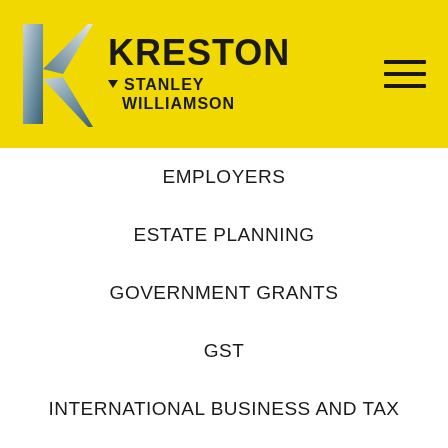[Figure (logo): Kreston Stanley Williamson logo with stylized K letterform in silver/grey on yellow background]
EMPLOYERS
ESTATE PLANNING
GOVERNMENT GRANTS
GST
INTERNATIONAL BUSINESS AND TAX
INVESTING
IT
KSW COMPANY NEWS
LAND TAX
NEWSLETTERS
PERSONAL